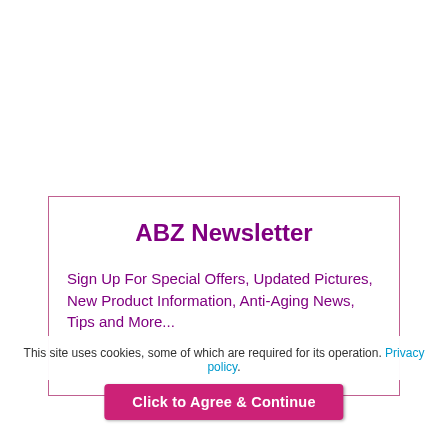ABZ Newsletter
Sign Up For Special Offers, Updated Pictures, New Product Information, Anti-Aging News, Tips and More...
This site uses cookies, some of which are required for its operation. Privacy policy.
Click to Agree & Continue